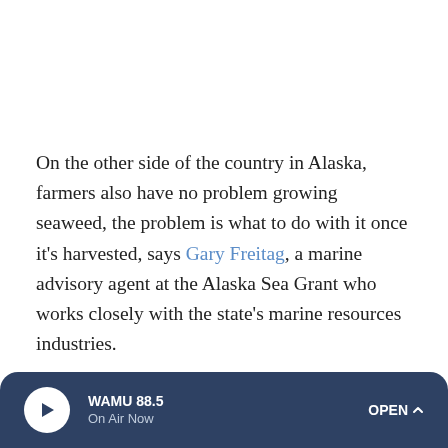On the other side of the country in Alaska, farmers also have no problem growing seaweed, the problem is what to do with it once it's harvested, says Gary Freitag, a marine advisory agent at the Alaska Sea Grant who works closely with the state's marine resources industries.
He says Alaska has about five seaweed farms, and he gets about 20 calls a month from people interested in starting their own. But now the industry needs to address questions
WAMU 88.5 · On Air Now · OPEN